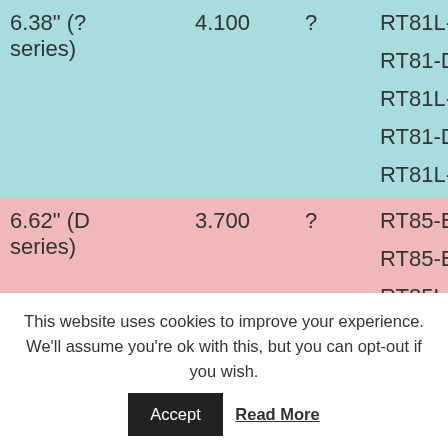| Size | Value | ? | Model |
| --- | --- | --- | --- |
| 6.38" (? series) | 4.100 | ? | RT81L-C |
|  |  |  | RT81-D |
|  |  |  | RT81L-D |
|  |  |  | RT81-DC |
|  |  |  | RT81L-DC |
| 6.62" (D series) | 3.700 | ? | RT85-BK |
|  |  |  | RT85-BN |
|  |  |  | RT85L-KA |
|  |  |  | RT95-BK |
|  |  |  | RT95-BH |
|  |  |  | RT95L-HA |
| 6.62" (D | 3.900 | ? | RT85L-NA |
|  |  |  | RT85L-HA |
This website uses cookies to improve your experience. We'll assume you're ok with this, but you can opt-out if you wish.